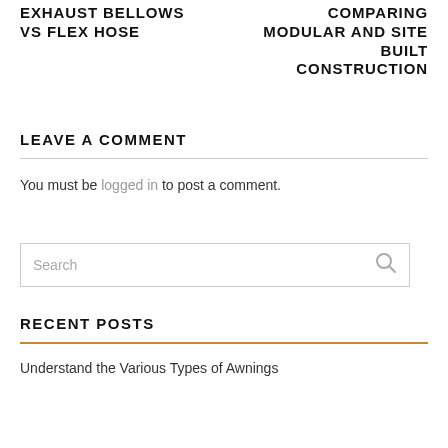EXHAUST BELLOWS VS FLEX HOSE
COMPARING MODULAR AND SITE BUILT CONSTRUCTION
LEAVE A COMMENT
You must be logged in to post a comment.
Search
RECENT POSTS
Understand the Various Types of Awnings